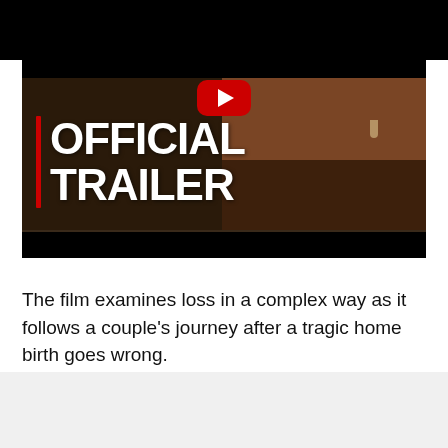[Figure (screenshot): YouTube video thumbnail showing a film official trailer. Dark cinematic image with a close-up of a person's face/neck from the side on the right. A red YouTube play button is visible at the top center. On the left side, 'OFFICIAL TRAILER' is written in large bold white text with a red vertical bar on its left.]
The film examines loss in a complex way as it follows a couple's journey after a tragic home birth goes wrong.